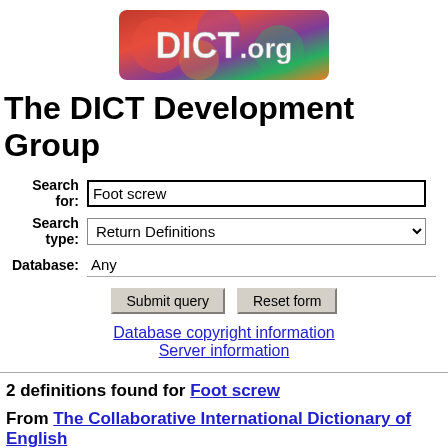[Figure (logo): DICT.org logo with colorful background and white text]
The DICT Development Group
| Search for: | Foot screw |
| Search type: | Return Definitions |
| Database: | Any |
Submit query   Reset form
Database copyright information
Server information
2 definitions found for Foot screw
From The Collaborative International Dictionary of English